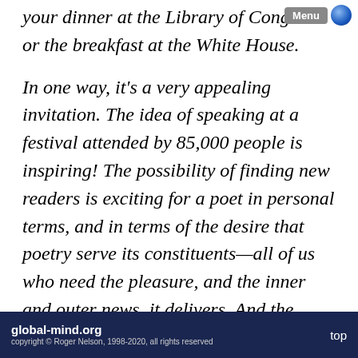your dinner at the Library of Congress or the breakfast at the White House.
In one way, it's a very appealing invitation. The idea of speaking at a festival attended by 85,000 people is inspiring! The possibility of finding new readers is exciting for a poet in personal terms, and in terms of the desire that poetry serve its constituents—all of us who need the pleasure, and the inner and outer news, it delivers. And the concept of
global-mind.org
copyright © Roger Nelson, 1998-2020, all rights reserved
top